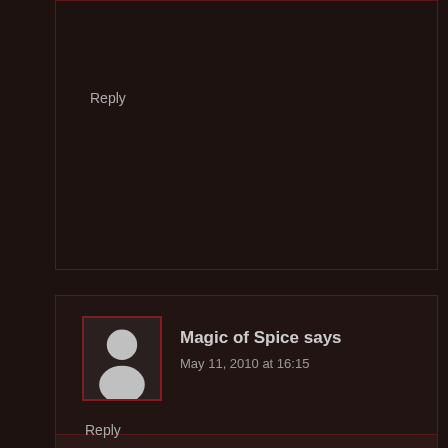Reply
Magic of Spice says
May 11, 2010 at 16:15
Wow this sounds great, I love the cumin. I am curious to see what was different in your Mothers recipe?
Reply